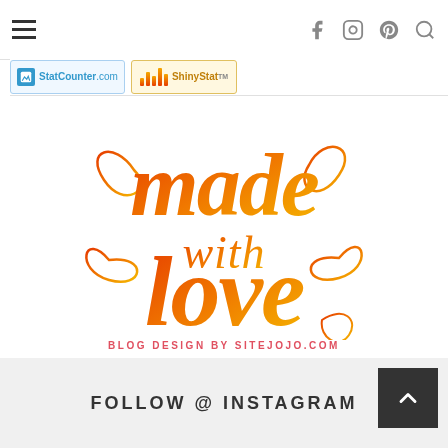Navigation header with hamburger menu and social icons (facebook, instagram, pinterest, search)
[Figure (logo): StatCounter.com badge and ShinyStatTM badge showing web statistics tracking icons]
[Figure (logo): Made with love calligraphy logo in orange-red gradient script font with decorative flourishes, subtitle: BLOG DESIGN BY SITEJOJO.COM]
BLOG DESIGN BY SITEJOJO.COM
FOLLOW @ INSTAGRAM
FOLLOW @ INSTAGRAM